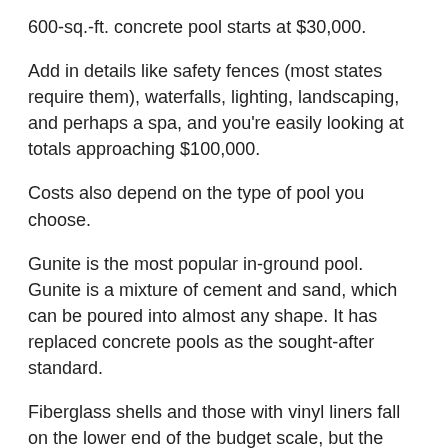600-sq.-ft. concrete pool starts at $30,000.
Add in details like safety fences (most states require them), waterfalls, lighting, landscaping, and perhaps a spa, and you're easily looking at totals approaching $100,000.
Costs also depend on the type of pool you choose.
Gunite is the most popular in-ground pool. Gunite is a mixture of cement and sand, which can be poured into almost any shape. It has replaced concrete pools as the sought-after standard.
Fiberglass shells and those with vinyl liners fall on the lower end of the budget scale, but the liners typically need replacing every 10 or so years. Changing the liner requires draining the pool and replacing the edging (called coping), so over time, costs add up. Most homebuyers will insist that you replace a vinyl liner, even